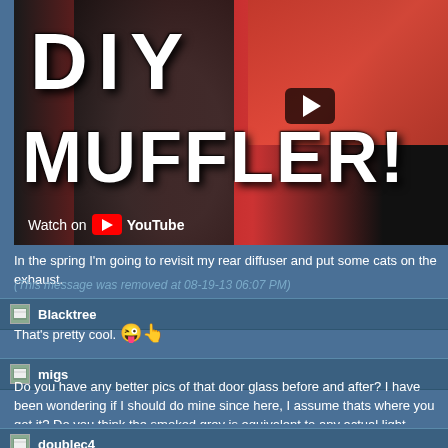[Figure (screenshot): YouTube video thumbnail showing a DIY MUFFLER! video with a car exhaust and tire in the background. Text reads 'DIY MUFFLER!' with a play button and 'Watch on YouTube' bar.]
In the spring I'm going to revisit my rear diffuser and put some cats on the exhaust.
(This message was removed at 08-19-13 06:07 PM)
Blacktree
That's pretty cool. 😜👆
migs
Do you have any better pics of that door glass before and after? I have been wondering if I should do mine since here, I assume thats where you got it? Do you think the smoked grey is equivalent to any actual light window
doublec4